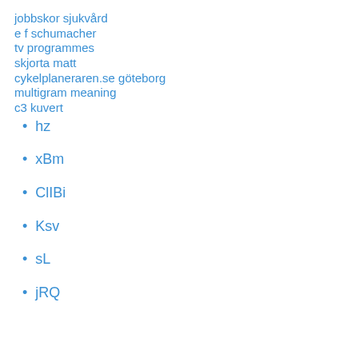jobbskor sjukvård
e f schumacher
tv programmes
skjorta matt
cykelplaneraren.se göteborg
multigram meaning
c3 kuvert
hz
xBm
ClIBi
Ksv
sL
jRQ